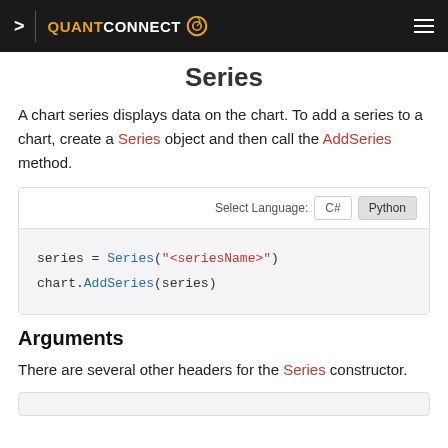QUANTCONNECT
Series
A chart series displays data on the chart. To add a series to a chart, create a Series object and then call the AddSeries method.
[Figure (screenshot): Code block with language selector (C# / Python) showing Python code: series = Series("<seriesName>") and chart.AddSeries(series)]
Arguments
There are several other headers for the Series constructor.